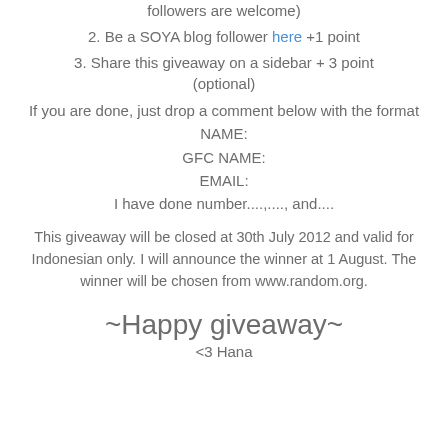followers are welcome)
2. Be a SOYA blog follower here +1 point
3. Share this giveaway on a sidebar + 3 point (optional)
If you are done, just drop a comment below with the format
NAME:
GFC NAME:
EMAIL:
I have done number....,...., and....
This giveaway will be closed at 30th July 2012 and valid for Indonesian only. I will announce the winner at 1 August. The winner will be chosen from www.random.org.
~Happy giveaway~
<3 Hana